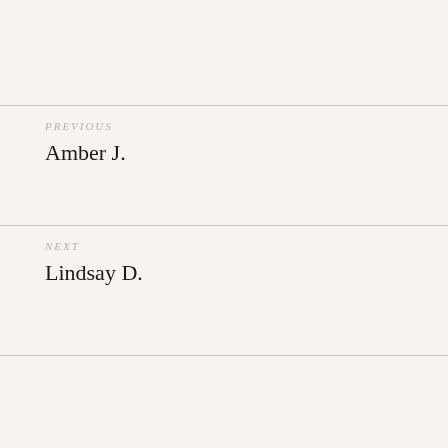PREVIOUS
Amber J.
NEXT
Lindsay D.